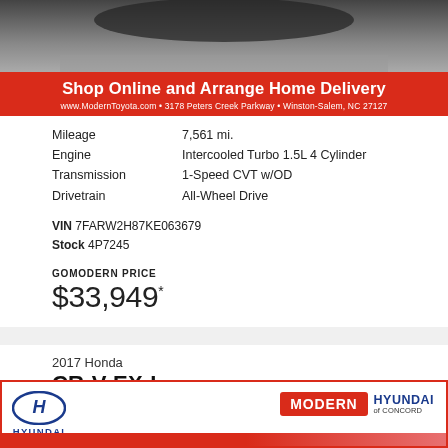[Figure (photo): Partial view of a vehicle (bottom portion), shot from above on a road surface]
Shop Online and Arrange Home Delivery
www.ModernToyota.com • 3178 Peters Creek Parkway • Winston-Salem, NC 27127
| Mileage | 7,561 mi. |
| Engine | Intercooled Turbo 1.5L 4 Cylinder |
| Transmission | 1-Speed CVT w/OD |
| Drivetrain | All-Wheel Drive |
VIN 7FARW2H87KE063679
Stock 4P7245
GOMODERN PRICE
$33,949*
2017 Honda
CR-V EX-L
[Figure (logo): Modern Hyundai of Concord dealer banner with Hyundai logo and Modern red badge]